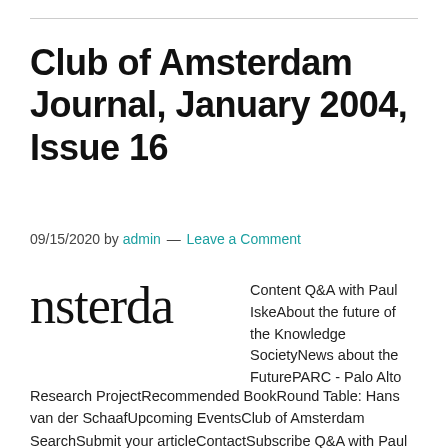Club of Amsterdam Journal, January 2004, Issue 16
09/15/2020 by admin — Leave a Comment
[Figure (logo): Partial logo text reading 'nsterda' in large serif font, cropped from the full 'Club of Amsterdam' wordmark]
Content Q&A with Paul IskeAbout the future of the Knowledge SocietyNews about the FuturePARC - Palo Alto Research ProjectRecommended BookRound Table: Hans van der SchaafUpcoming EventsClub of Amsterdam SearchSubmit your articleContactSubscribe Q&A with Paul Iske Paul Iske Chief Knowledge Officer, ABN Amro